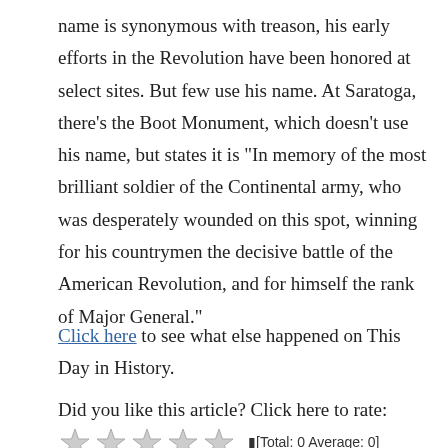name is synonymous with treason, his early efforts in the Revolution have been honored at select sites. But few use his name. At Saratoga, there’s the Boot Monument, which doesn’t use his name, but states it is “In memory of the most brilliant soldier of the Continental army, who was desperately wounded on this spot, winning for his countrymen the decisive battle of the American Revolution, and for himself the rank of Major General.”
Click here to see what else happened on This Day in History.
Did you like this article? Click here to rate: